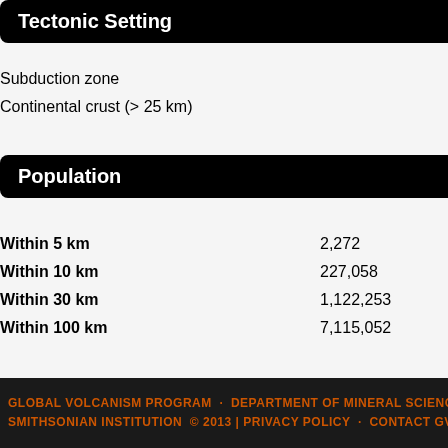Tectonic Setting
Subduction zone
Continental crust (> 25 km)
Population
| Distance | Population |
| --- | --- |
| Within 5 km | 2,272 |
| Within 10 km | 227,058 |
| Within 30 km | 1,122,253 |
| Within 100 km | 7,115,052 |
Peña O, 198...
PHIVOLCS, https://www....
PHIVOLCS,...
GLOBAL VOLCANISM PROGRAM · DEPARTMENT OF MINERAL SCIENCE
SMITHSONIAN INSTITUTION © 2013 | PRIVACY POLICY · CONTACT GV